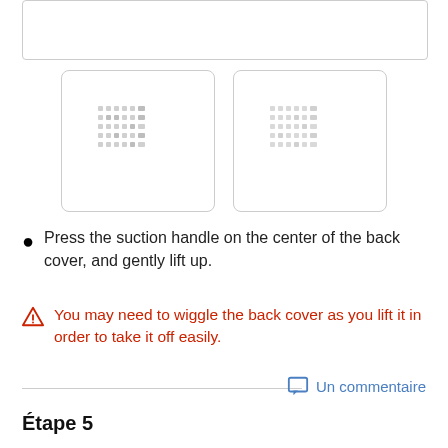[Figure (illustration): Top placeholder box (partial image, cropped at top)]
[Figure (photo): Two side-by-side images showing back cover with dot grid pattern representing suction handle placement]
Press the suction handle on the center of the back cover, and gently lift up.
You may need to wiggle the back cover as you lift it in order to take it off easily.
Un commentaire
Étape 5